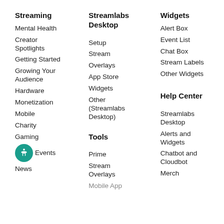Streaming
Mental Health
Creator Spotlights
Getting Started
Growing Your Audience
Hardware
Monetization
Mobile
Charity
Gaming
Events
News
Streamlabs Desktop
Setup
Stream
Overlays
App Store
Widgets
Other (Streamlabs Desktop)
Tools
Prime
Stream Overlays
Mobile App
Widgets
Alert Box
Event List
Chat Box
Stream Labels
Other Widgets
Help Center
Streamlabs Desktop
Alerts and Widgets
Chatbot and Cloudbot
Merch